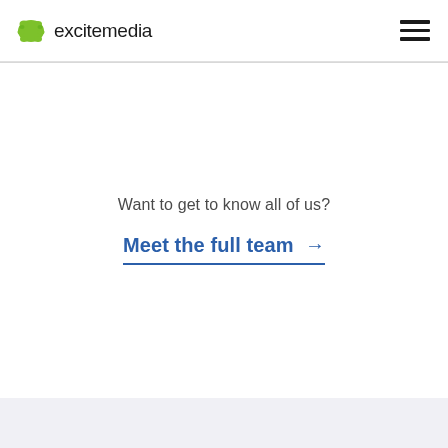excitemedia
Want to get to know all of us?
Meet the full team →